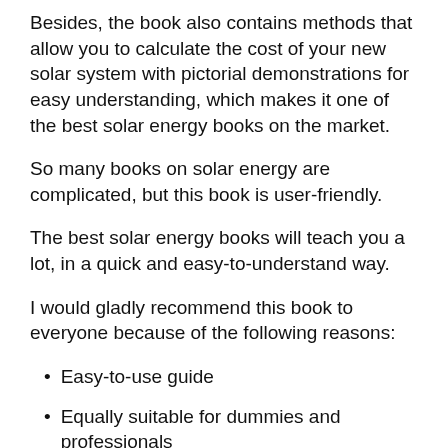Besides, the book also contains methods that allow you to calculate the cost of your new solar system with pictorial demonstrations for easy understanding, which makes it one of the best solar energy books on the market.
So many books on solar energy are complicated, but this book is user-friendly.
The best solar energy books will teach you a lot, in a quick and easy-to-understand way.
I would gladly recommend this book to everyone because of the following reasons:
Easy-to-use guide
Equally suitable for dummies and professionals